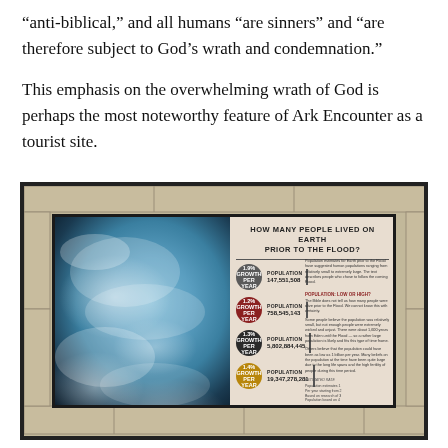“anti-biblical,” and all humans “are sinners” and “are therefore subject to God’s wrath and condemnation.”

This emphasis on the overwhelming wrath of God is perhaps the most noteworthy feature of Ark Encounter as a tourist site.
[Figure (photo): Photograph of a framed infographic display mounted on a stone wall at the Ark Encounter museum. The display is titled 'HOW MANY PEOPLE LIVED ON EARTH PRIOR TO THE FLOOD?' and shows four population estimates with growth rates of 1.9%, 1.2%, 1.3%, and 1.4% per year, with corresponding population figures of 147,551,508; 758,545,143; 5,802,884,445; and 19,347,278,281. The left side features an image of Earth from space with clouds. The right side has descriptive text about population estimates.]